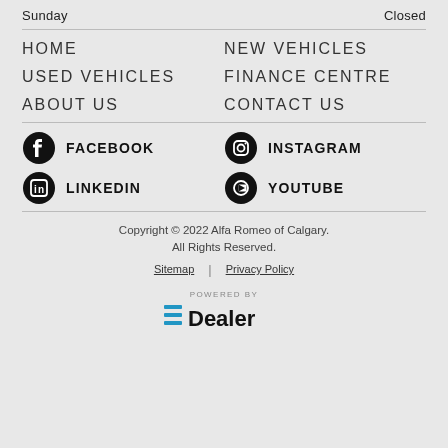Sunday    Closed
HOME
NEW VEHICLES
USED VEHICLES
FINANCE CENTRE
ABOUT US
CONTACT US
FACEBOOK
INSTAGRAM
LINKEDIN
YOUTUBE
Copyright © 2022 Alfa Romeo of Calgary.
All Rights Reserved.
Sitemap | Privacy Policy
[Figure (logo): EDealer logo with POWERED BY text above]